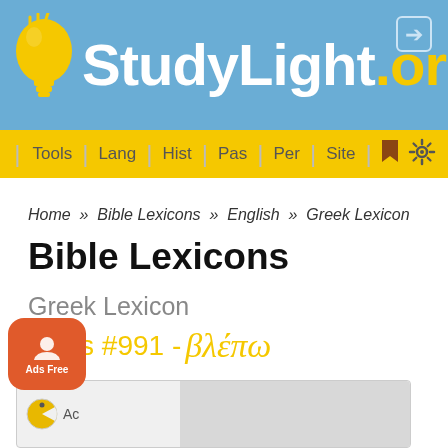StudyLight.org
Tools | Lang | Hist | Pas | Per | Site
Home » Bible Lexicons » English » Greek Lexicon
Bible Lexicons
Greek Lexicon
Strong's #991 - βλέπω
[Figure (other): Advertisement placeholder area at the bottom of the page with a circular logo icon on the left]